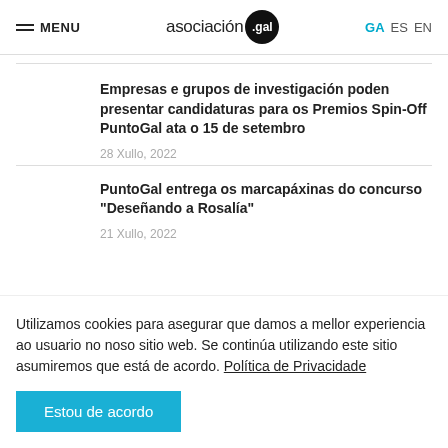MENU | asociación .gal | GA ES EN
Empresas e grupos de investigación poden presentar candidaturas para os Premios Spin-Off PuntoGal ata o 15 de setembro
28 Xullo, 2022
PuntoGal entrega os marcapáxinas do concurso "Deseñando a Rosalía"
21 Xullo, 2022
Utilizamos cookies para asegurar que damos a mellor experiencia ao usuario no noso sitio web. Se continúa utilizando este sitio asumiremos que está de acordo. Política de Privacidade
Estou de acordo